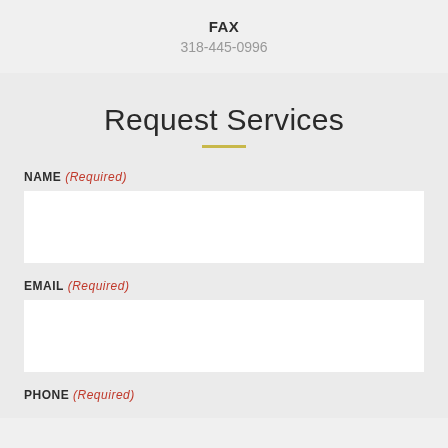FAX
318-445-0996
Request Services
NAME (Required)
EMAIL (Required)
PHONE (Required)